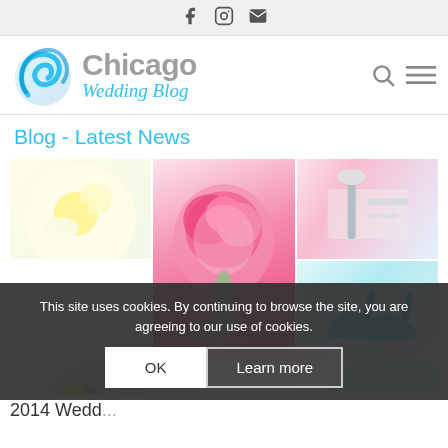Facebook, Instagram, Email icons
[Figure (logo): Chicago Wedding Blog logo with blue swirl icon, grey Chicago text, and blue italic Wedding Blog text]
Blog - Latest News
[Figure (photo): Collage of wedding-themed photos: flowers, table setting, pink peonies bouquet, and blue high heels]
This site uses cookies. By continuing to browse the site, you are agreeing to our use of cookies.
OK   Learn more
2014 Wedd...